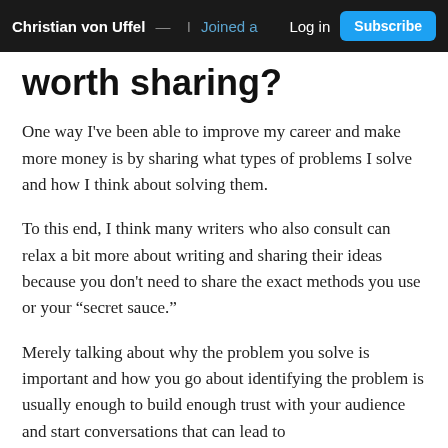Christian von Uffel — I Joined a  Log in  Subscribe
worth sharing?
One way I've been able to improve my career and make more money is by sharing what types of problems I solve and how I think about solving them.
To this end, I think many writers who also consult can relax a bit more about writing and sharing their ideas because you don't need to share the exact methods you use or your “secret sauce.”
Merely talking about why the problem you solve is important and how you go about identifying the problem is usually enough to build enough trust with your audience and start conversations that can lead to